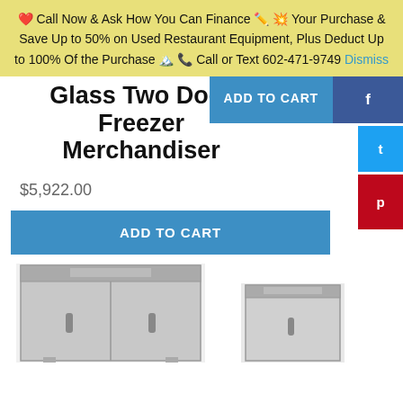❤️ Call Now & Ask How You Can Finance 📝 💥 Your Purchase & Save Up to 50% on Used Restaurant Equipment, Plus Deduct Up to 100% Of the Purchase 🗻 📞 Call or Text 602-471-9749 Dismiss
Glass Two Door Freezer Merchandiser
$5,922.00
ADD TO CART
[Figure (photo): Two-door stainless steel freezer merchandiser unit]
[Figure (photo): Single-door refrigeration unit]